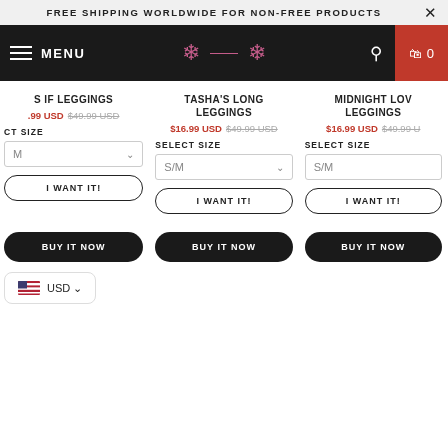FREE SHIPPING WORLDWIDE FOR NON-FREE PRODUCTS
MENU
S IF LEGGINGS
.99 USD $49.99 USD
TASHA'S LONG LEGGINGS
$16.99 USD $49.99 USD
MIDNIGHT LOV LEGGINGS
$16.99 USD $49.99 U
SELECT SIZE
SELECT SIZE
S/M
S/M
I WANT IT!
I WANT IT!
I WANT IT!
BUY IT NOW
BUY IT NOW
BUY IT NOW
USD